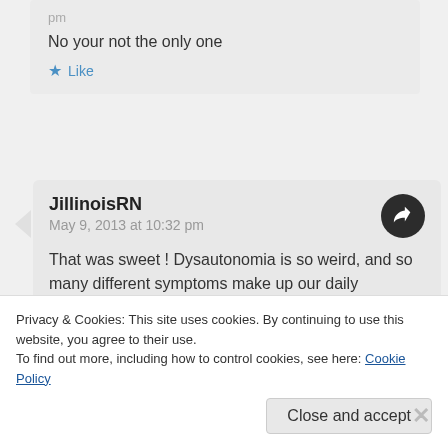pm
No your not the only one
★ Like
JillinoisRN
May 9, 2013 at 10:32 pm
That was sweet ! Dysautonomia is so weird, and so many different symptoms make up our daily challenges. It's nice to have people here who understand 🙂
Privacy & Cookies: This site uses cookies. By continuing to use this website, you agree to their use.
To find out more, including how to control cookies, see here: Cookie Policy
Close and accept